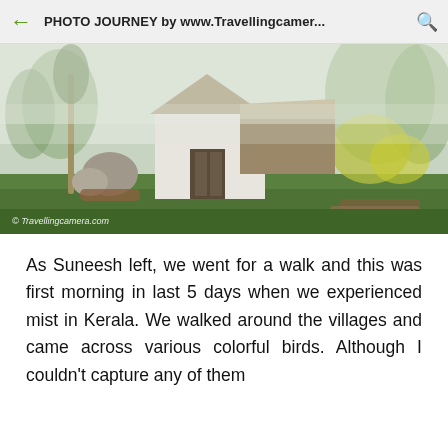PHOTO JOURNEY by www.Travellingcamer...
[Figure (photo): A misty morning scene showing an old rural structure with a thatched/stone roof, white walls, open doorway, surrounded by green vegetation, rocks, trees, and fog. Watermark: © Travellingcamera.com]
As Suneesh left, we went for a walk and this was first morning in last 5 days when we experienced mist in Kerala. We walked around the villages and came across various colorful birds. Although I couldn't capture any of them